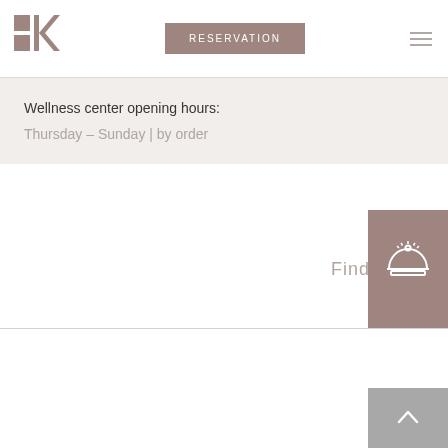[Figure (logo): Hotel/resort K logo with two squares and stylized K letterform in brownish-taupe color]
RESERVATION
Wellness center opening hours:
Thursday – Sunday | by order
Find out mor
[Figure (illustration): Concierge bell icon with light rays on dark brownish background]